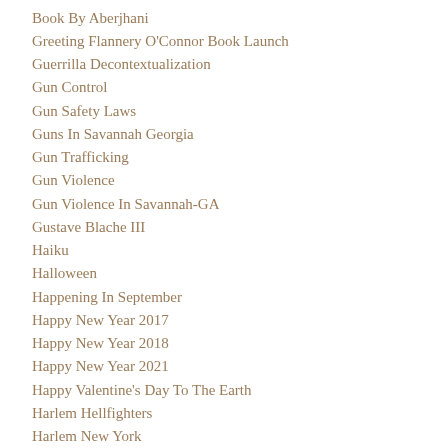Book By Aberjhani
Greeting Flannery O'Connor Book Launch
Guerrilla Decontextualization
Gun Control
Gun Safety Laws
Guns In Savannah Georgia
Gun Trafficking
Gun Violence
Gun Violence In Savannah-GA
Gustave Blache III
Haiku
Halloween
Happening In September
Happy New Year 2017
Happy New Year 2018
Happy New Year 2021
Happy Valentine's Day To The Earth
Harlem Hellfighters
Harlem New York
Harlem-New-York
Harlem Renaissance
Harlem Renaissance